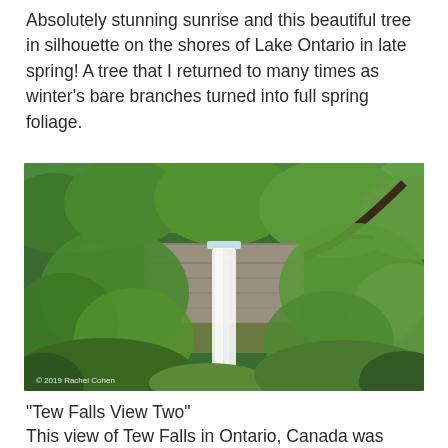Absolutely stunning sunrise and this beautiful tree in silhouette on the shores of Lake Ontario in late spring! A tree that I returned to many times as winter's bare branches turned into full spring foliage.
[Figure (photo): A waterfall (Tew Falls) cascading down a rocky cliff face surrounded by lush green trees and vegetation. Photo credit reads '© 2019 Rachel Cohen'.]
“Tew Falls View Two”
This view of Tew Falls in Ontario, Canada was